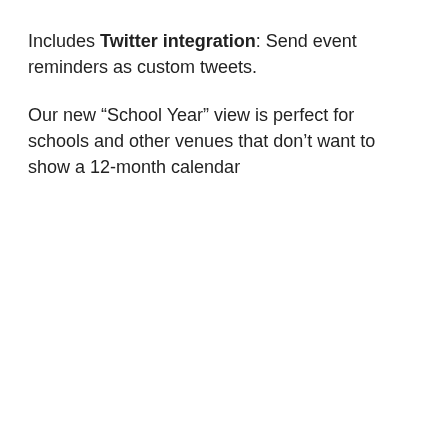Includes Twitter integration: Send event reminders as custom tweets.
Our new “School Year” view is perfect for schools and other venues that don’t want to show a 12-month calendar